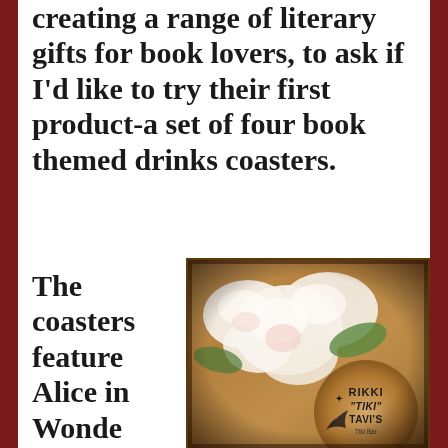creating a range of literary gifts for book lovers, to ask if I'd like to try their first product-a set of four book themed drinks coasters.
The coasters feature Alice in Wonde
[Figure (photo): A photo of a wooden coaster with white/pink flowers placed on top. The coaster reads 'RIKKI TIKI TAVI'S Tiki Bar' with a bird silhouette logo. Background is wooden surface.]